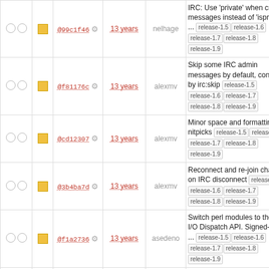|  |  | hash | age | author | message |
| --- | --- | --- | --- | --- | --- |
| ○ ○ | ■ | @99c1f46 ⚙ | 13 years | nelhage | IRC: Use 'private' when creating messages instead of 'isprivate'. ... release-1.5 release-1.6 release-1.7 release-1.8 release-1.9 |
| ○ ○ | ■ | @f81176c ⚙ | 13 years | alexmv | Skip some IRC admin messages by default, controlled by irc:skip release-1.5 release-1.6 release-1.7 release-1.8 release-1.9 |
| ○ ○ | ■ | @cd12307 ⚙ | 13 years | alexmv | Minor space and formatting nitpicks release-1.5 release-1.6 release-1.7 release-1.8 release-1.9 |
| ○ ○ | ■ | @3b4ba7d ⚙ | 13 years | alexmv | Reconnect and re-join channels on IRC disconnect release-1.5 release-1.6 release-1.7 release-1.8 release-1.9 |
| ○ ○ | ■ | @f1a2736 ⚙ | 13 years | asedeno | Switch perl modules to the new I/O Dispatch API. Signed-off-by: ... release-1.5 release-1.6 release-1.7 release-1.8 release-1.9 |
| ○ ○ | ■ | @8590774 ⚙ | 13 years | asedeno | Reconnect to MUCs when reconnecting to Jabber. Signed-off-by: ... release-1.5 release-1.6 release-1.7 release-1.8 release-1.9 |
| ○ ○ | ■ | @da554da ⚙ | 13 years | alexmv | Add IRC server and channel listing to buddylist release-1.5 release-... |